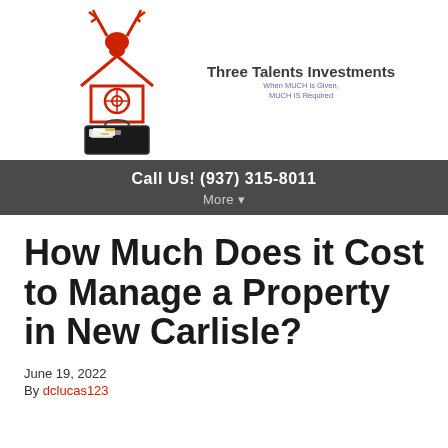[Figure (logo): Three Talents Investments logo: red outline of a house with a target/crosshair circle, a moose head above the house, and an open briefcase filled with money below. To the right, the company name 'Three Talents Investments' in bold dark text, with tagline 'When MUCH is Given, MUCH IS Required' in purple below.]
Call Us! (937) 315-8011
More ▾
How Much Does it Cost to Manage a Property in New Carlisle?
June 19, 2022
By dclucas123